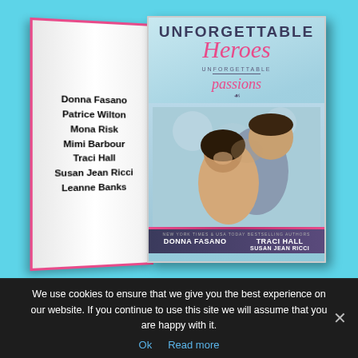[Figure (illustration): 3D book mockup of 'Unforgettable Heroes' anthology. The spine shows authors: Donna Fasano, Patrice Wilton, Mona Risk, Mimi Barbour, Traci Hall, Susan Jean Ricci, Leanne Banks. The front cover shows the title 'UNFORGETTABLE Heroes' with 'passions' subtitle, a photo of a couple (man and woman), and a bottom banner with 'NEW YORK TIMES & USA TODAY BESTSELLING AUTHORS' with author names including Donna Fasano, Traci Hall, Susan Jean Ricci. Background is light blue/cyan.]
We use cookies to ensure that we give you the best experience on our website. If you continue to use this site we will assume that you are happy with it.
Ok   Read more